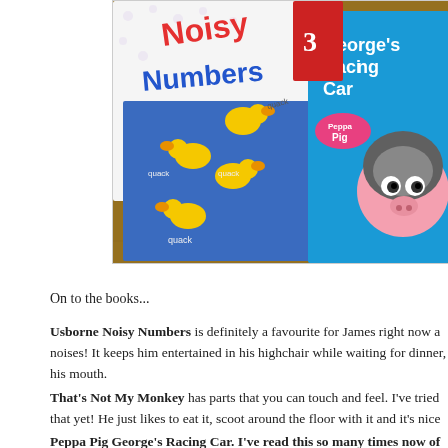[Figure (photo): Children's books photographed on a wooden floor, including 'Noisy Numbers' with yellow ducks on a blue cover, and 'George's Racing Car' (Peppa Pig) with a pink pig character in a racing helmet on a blue cover.]
On to the books...
Usborne Noisy Numbers is definitely a favourite for James right now a noises! It keeps him entertained in his highchair while waiting for dinner, his mouth.
That's Not My Monkey has parts that you can touch and feel. I've tried that yet! He just likes to eat it, scoot around the floor with it and it's nice
Peppa Pig George's Racing Car. I've read this so many times now of